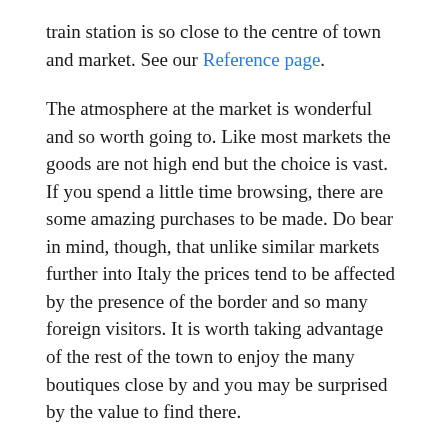train station is so close to the centre of town and market. See our Reference page.
The atmosphere at the market is wonderful and so worth going to. Like most markets the goods are not high end but the choice is vast. If you spend a little time browsing, there are some amazing purchases to be made. Do bear in mind, though, that unlike similar markets further into Italy the prices tend to be affected by the presence of the border and so many foreign visitors. It is worth taking advantage of the rest of the town to enjoy the many boutiques close by and you may be surprised by the value to find there.
As well as clothing, there is an array of foods to munch on and the delicacies vary from sun-dried tomatoes to salamis and pasta to parmiggiano.
A note to remember, in Italy it is imperative that you take or are given a receipt with everything you buy. The market